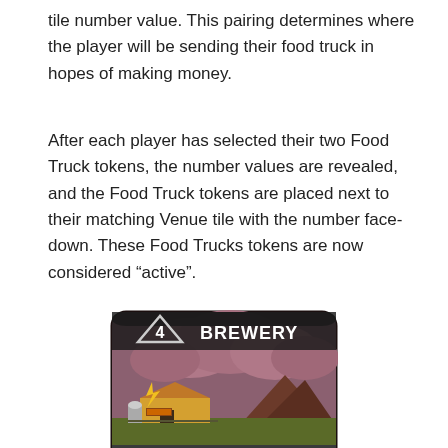tile number value. This pairing determines where the player will be sending their food truck in hopes of making money.
After each player has selected their two Food Truck tokens, the number values are revealed, and the Food Truck tokens are placed next to their matching Venue tile with the number face-down. These Food Trucks tokens are now considered “active”.
[Figure (illustration): A game card showing a brewery venue tile. The card has a dark rounded rectangle border, an illustrated scene of a brewery/industrial building with clouds and mountains in the background. In the top left is a triangle icon with the number 4 inside, and bold white text reading BREWERY to its right on a dark background banner.]